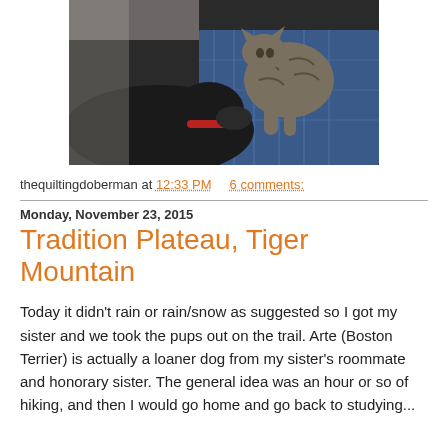[Figure (photo): A black dog and a tabby cat on a blue patterned blanket or fabric. The dog appears to be sniffing or nuzzling the cat.]
thequiltingdoberman at 12:33 PM   6 comments:
Monday, November 23, 2015
Tradition Plateau, Tiger Mountain
Today it didn't rain or rain/snow as suggested so I got my sister and we took the pups out on the trail. Arte (Boston Terrier) is actually a loaner dog from my sister's roommate and honorary sister. The general idea was an hour or so of hiking, and then I would go home and go back to studying...